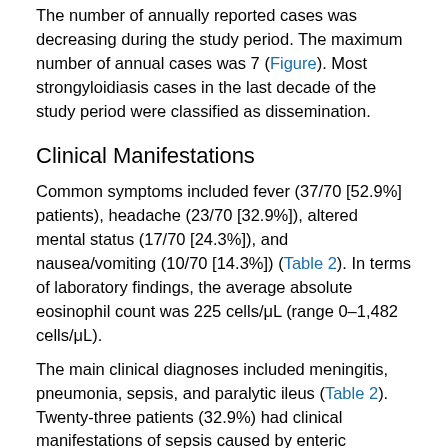The number of annually reported cases was decreasing during the study period. The maximum number of annual cases was 7 (Figure). Most strongyloidiasis cases in the last decade of the study period were classified as dissemination.
Clinical Manifestations
Common symptoms included fever (37/70 [52.9%] patients), headache (23/70 [32.9%]), altered mental status (17/70 [24.3%]), and nausea/vomiting (10/70 [14.3%]) (Table 2). In terms of laboratory findings, the average absolute eosinophil count was 225 cells/μL (range 0–1,482 cells/μL).
The main clinical diagnoses included meningitis, pneumonia, sepsis, and paralytic ileus (Table 2). Twenty-three patients (32.9%) had clinical manifestations of sepsis caused by enteric organisms